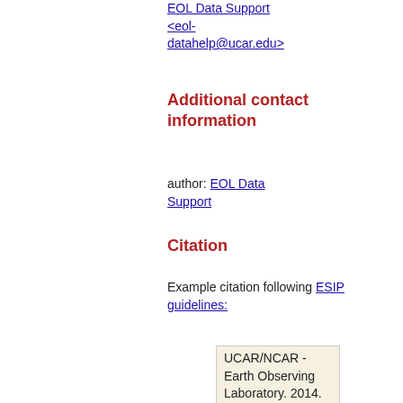EOL Data Support <eol-datahelp@ucar.edu>
Additional contact information
author: EOL Data Support
Citation
Example citation following ESIP guidelines:
UCAR/NCAR - Earth Observing Laboratory. 2014. NSF/NCAR